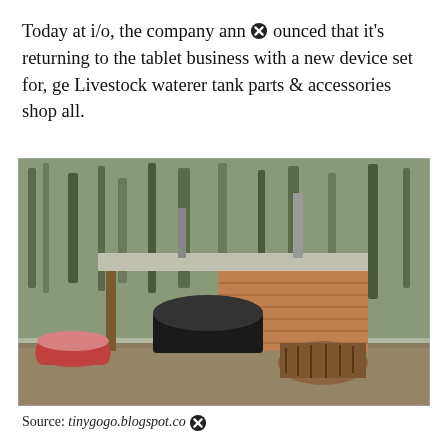Today at i/o, the company announced that it's returning to the tablet business with a new device set for, ge Livestock waterer tank parts & accessories shop all.
[Figure (photo): Outdoor wooden structure with a rooftop and two chimney pipes, housing a large round black livestock water tank. A red bathtub sits to the left, and a pile of firewood is on the right. The setting is a wooded area with fallen leaves on the ground.]
Source: tinygogo.blogspot.com